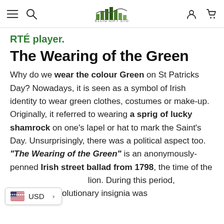Skellig Gift Store navigation bar
RTÉ player.
The Wearing of the Green
Why do we wear the colour Green on St Patricks Day? Nowadays, it is seen as a symbol of Irish identity to wear green clothes, costumes or make-up. Originally, it referred to wearing a sprig of lucky shamrock on one's lapel or hat to mark the Saint's Day. Unsurprisingly, there was a political aspect too. "The Wearing of the Green" is an anonymously-penned Irish street ballad from 1798, the time of the ...lion. During this period, displaying revolutionary insignia was
USD >